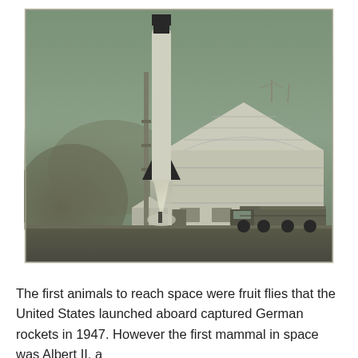[Figure (photo): Black and white historical photograph showing a rocket launching (V-2 style) next to a large pyramid-roofed building, with a military truck parked on the right and a dust cloud on the left from the rocket exhaust. The scene appears to be at White Sands Proving Ground, circa 1947.]
The first animals to reach space were fruit flies that the United States launched aboard captured German rockets in 1947. However the first mammal in space was Albert II, a